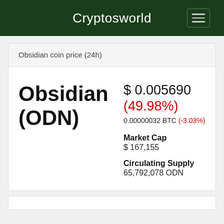Cryptosworld
Obsidian coin price (24h)
Obsidian (ODN)
$ 0.005690
(49.98%)
0.00000032 BTC (-3.03%)
Market Cap
$ 167,155
Circulating Supply
65,792,078 ODN